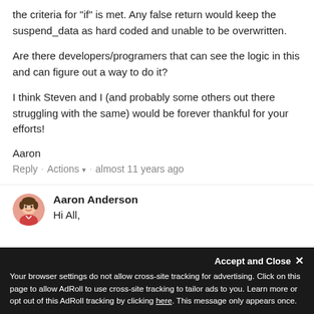the criteria for "if" is met. Any false return would keep the suspend_data as hard coded and unable to be overwritten.
Are there developers/programers that can see the logic in this and can figure out a way to do it?
I think Steven and I (and probably some others out there struggling with the same) would be forever thankful for your efforts!
Aaron
Reply · Actions ▾ · almost 11 years ago
Aaron Anderson
Hi All,
Your browser settings do not allow cross-site tracking for advertising. Click on this page to allow AdRoll to use cross-site tracking to tailor ads to you. Learn more or opt out of this AdRoll tracking by clicking here. This message only appears once.